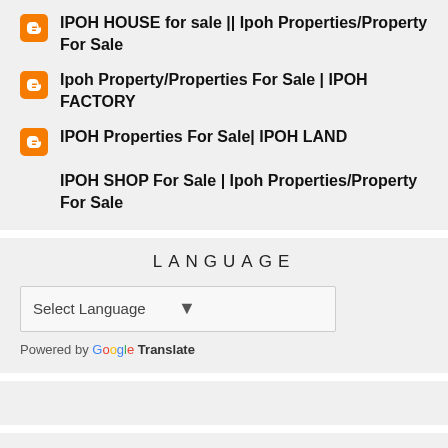IPOH HOUSE for sale || Ipoh Properties/Property For Sale
Ipoh Property/Properties For Sale | IPOH FACTORY
IPOH Properties For Sale| IPOH LAND
IPOH SHOP For Sale | Ipoh Properties/Property For Sale
LANGUAGE
Select Language
Powered by Google Translate
SUBSCRIPT VIA EMAIL
Enter your email address: